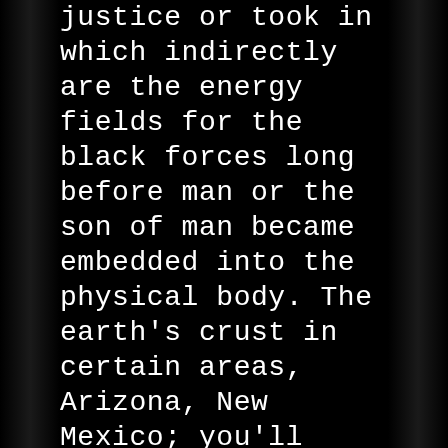Justice or took in which indirectly are the energy fields for the black forces long before man or the son of man became embedded into the physical body. The earth's crust in certain areas, Arizona, New Mexico; you'll find also in France, Egypt, certain parts of Turkey, certain parts of Tibet and